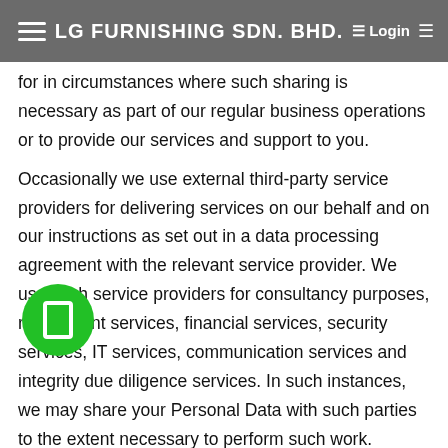LG FURNISHING SDN. BHD.  Login
for in circumstances where such sharing is necessary as part of our regular business operations or to provide our services and support to you.
Occasionally we use external third-party service providers for delivering services on our behalf and on our instructions as set out in a data processing agreement with the relevant service provider. We use such service providers for consultancy purposes, recruitment services, financial services, security services, IT services, communication services and integrity due diligence services. In such instances, we may share your Personal Data with such parties to the extent necessary to perform such work.
We will not knowingly disclose your Personal Data to third parties for the purposes of allowing them to market their products or services to you.